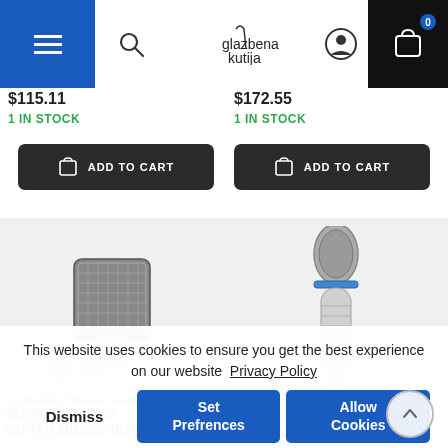glazbena kutija - navigation header with hamburger menu, search, logo, user icon, cart (0)
$115.11
$172.55
1 IN STOCK
1 IN STOCK
ADD TO CART
ADD TO CART
[Figure (photo): Sennheiser E609 guitar microphone product image - rectangular condenser microphone with grey/black grill]
[Figure (photo): Shure Beta 57A instrument microphone product image - silver handheld microphone]
This website uses cookies to ensure you get the best experience on our website  Privacy Policy
Dismiss
Set Prefrences
Allow Cookies
INSTRUMENT MICROPHONES
SENNHEISER E609
GUITAR MICROPHONE
INSTRUMENT MICROPHONES
SHURE BETA 57A